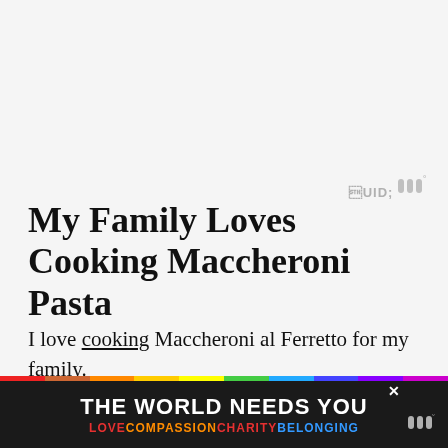[Figure (logo): Small grey logo/icon (three vertical bars with degree symbol) in top right area]
My Family Loves Cooking Maccheroni Pasta
I love cooking Maccheroni al Ferretto for my family.
I first made this traditional Southern Italian pasta di...
[Figure (infographic): Advertisement banner: 'THE WORLD NEEDS YOU' in white bold text on dark background with rainbow strip and 'LOVE COMPASSION CHARITY BELONGING' in colored text. Close X button top right. Logo bottom right.]